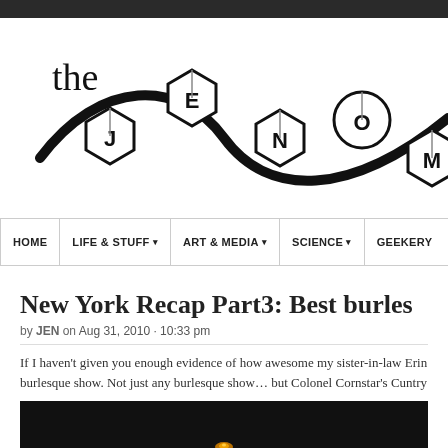the JENOM [blog logo]
HOME | LIFE & STUFF | ART & MEDIA | SCIENCE | GEEKERY
New York Recap Part3: Best burles
by JEN on Aug 31, 2010 · 10:33 pm
If I haven't given you enough evidence of how awesome my sister-in-law Erin is... burlesque show. Not just any burlesque show… but Colonel Cornstar's Cuntry
[Figure (screenshot): Dark video thumbnail with a small orange/yellow glowing dot near the bottom center]